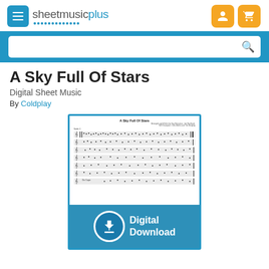sheetmusicplus
[Figure (screenshot): Sheet Music Plus website screenshot showing product page for 'A Sky Full Of Stars' digital sheet music by Coldplay, with search bar, product title, by-line, and a preview of the sheet music with a Digital Download overlay badge.]
A Sky Full Of Stars
Digital Sheet Music
By Coldplay